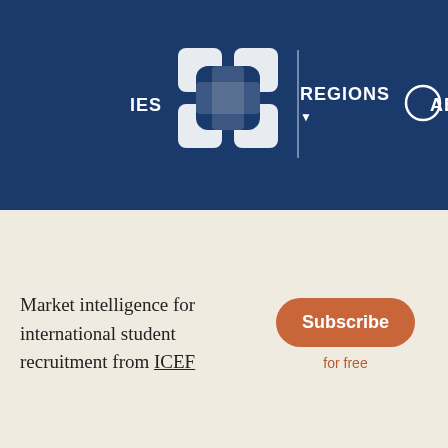REGIONS ABOUT
Market intelligence for international student recruitment from ICEF
Subscribe for free
Opportunities expand as Lebanese choose a wider range of
[Figure (logo): KONZ KONNECTING T logo on black background with Helping Edu-Migration business gain reve text]